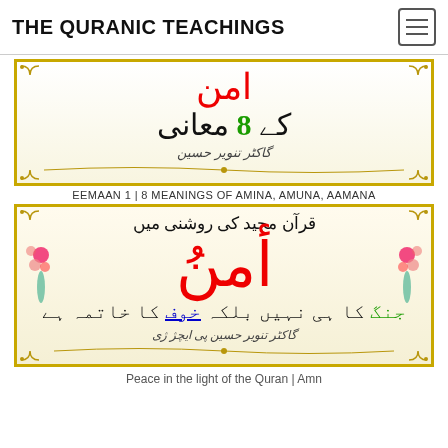THE QURANIC TEACHINGS
[Figure (illustration): Decorative Urdu/Arabic book cover image showing partial text with red and green characters, ornamental border, and author name in Urdu script. Shows '8 معانی کے' (8 meanings of) with author name 'ڈاکٹر تنویر حسین'.]
EEMAAN 1 | 8 MEANINGS OF AMINA, AMUNA, AAMANA
[Figure (illustration): Decorative Urdu book cover in an ornate golden border with floral illustrations. Text in Urdu: 'قرآن مجید کی روشنی میں' (In the light of the Quran), large red Arabic letter 'أمن' (Amn/peace), and text 'جنگ کا ہی نہیں بلکہ خوف کا خاتمہ ہے' (Not only end of war but also end of fear). Author: 'ڈاکٹر تنویر حسین پی ایچ ڈی'.]
Peace in the light of the Quran | Amn